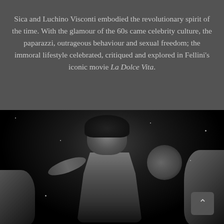Sica and Luchino Visconti embodied the revolutionary spirit of the time. With the glamour of the 60s came celebrity culture, the paparazzi, outrageous behaviour and sexual freedom; the immoral lifestyle celebrated, critiqued and explored in Fellini's iconic movie La Dolce Vita.
[Figure (photo): Black and white photograph of a person (appears to be a performer or musician) with curly/wavy hair, leaning forward with one hand raised near their face. The image is dramatically lit against a dark background. A back-to-top navigation button (chevron/caret) is visible in the lower right corner of the image.]